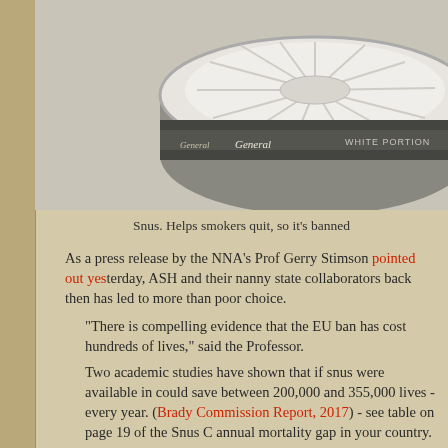[Figure (photo): A circular tin of snus (white portion smokeless tobacco product) viewed from above and slightly to the side, showing neatly arranged white pouches inside the open lid. The tin label reads 'General White Portion 24g'.]
Snus. Helps smokers quit, so it's banned
As a press release by the NNA's Prof Gerry Stimson pointed out yes[terday], ASH and their nanny state collaborators back then has led to more t[han poor] choice.
"There is compelling evidence that the EU ban has cost hundreds [of thousands of] lives," said the Professor.
Two academic studies have shown that if snus were available in [Europe it] could save between 200,000 and 355,000 lives - every year. (Bra[dy and Snus] Commission Report, 2017) - see table on page 19 of the Snus C[ommission for] annual mortality gap in your country.
It is only an accident of history that e-cigs didn't go the same way as [snus - the] methods employed are almost identical to those anti-vaping extrem[ists].